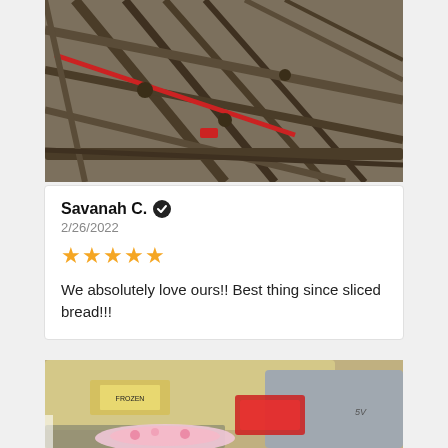[Figure (photo): Overhead view of metal shopping carts nested together in a parking lot, showing the cart handles and frames with a red stripe, on asphalt.]
Savanah C. ✓
2/26/2022
[Figure (other): Five orange star rating icons indicating 5 out of 5 stars]
We absolutely love ours!! Best thing since sliced bread!!!
[Figure (photo): Rear view of a silver/gold car in a parking lot with red tail lights, with what appears to be a shopping cart with a baby or item visible in the foreground.]